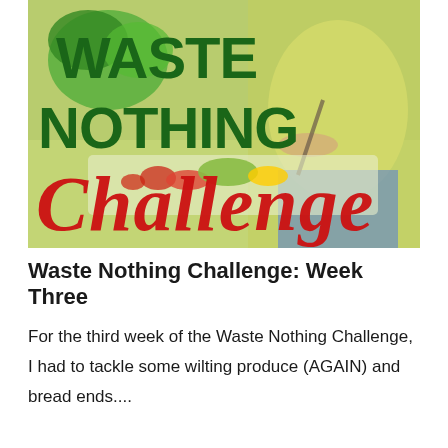[Figure (photo): Promotional image for 'Waste Nothing Challenge' featuring a woman chopping vegetables at a kitchen counter. Large dark green text reads 'WASTE NOTHING' and large red distressed italic text reads 'Challenge' overlaid on the photo.]
Waste Nothing Challenge: Week Three
For the third week of the Waste Nothing Challenge, I had to tackle some wilting produce (AGAIN) and bread ends....